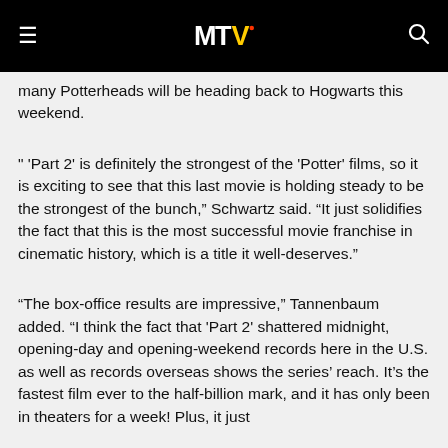MTV
many Potterheads will be heading back to Hogwarts this weekend.
" 'Part 2' is definitely the strongest of the 'Potter' films, so it is exciting to see that this last movie is holding steady to be the strongest of the bunch," Schwartz said. "It just solidifies the fact that this is the most successful movie franchise in cinematic history, which is a title it well-deserves."
"The box-office results are impressive," Tannenbaum added. "I think the fact that 'Part 2' shattered midnight, opening-day and opening-weekend records here in the U.S. as well as records overseas shows the series' reach. It's the fastest film ever to the half-billion mark, and it has only been in theaters for a week! Plus, it just